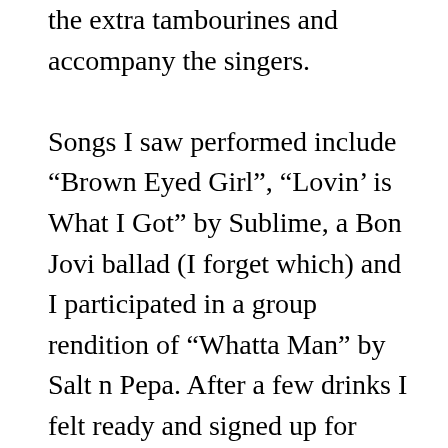the extra tambourines and accompany the singers.

Songs I saw performed include “Brown Eyed Girl”, “Lovin’ is What I Got” by Sublime, a Bon Jovi ballad (I forget which) and I participated in a group rendition of “Whatta Man” by Salt n Pepa. After a few drinks I felt ready and signed up for “Reminiscing” which I only knew (and loved) because a friend had burned it for me off an Easy Listening compilation. I can’t remember if the Karaoke song book listed songs by title or if I just stumbled across it because I had never before heard of the group who sang